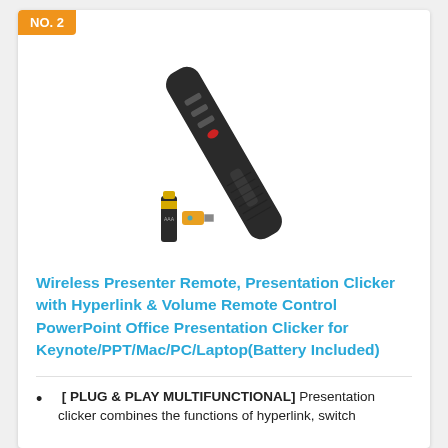NO. 2
[Figure (photo): A wireless presenter remote clicker device (black, elongated with several buttons), shown alongside a AAA battery and a small USB receiver dongle.]
Wireless Presenter Remote, Presentation Clicker with Hyperlink & Volume Remote Control PowerPoint Office Presentation Clicker for Keynote/PPT/Mac/PC/Laptop(Battery Included)
[ PLUG & PLAY MULTIFUNCTIONAL] Presentation clicker combines the functions of hyperlink, switch